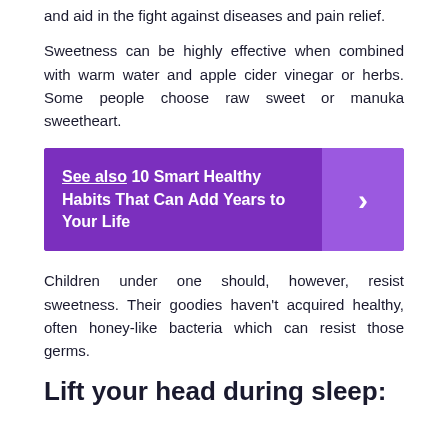and aid in the fight against diseases and pain relief.
Sweetness can be highly effective when combined with warm water and apple cider vinegar or herbs. Some people choose raw sweet or manuka sweetheart.
[Figure (infographic): Purple callout box with text 'See also 10 Smart Healthy Habits That Can Add Years to Your Life' and a right-arrow chevron on the right side in a darker purple panel.]
Children under one should, however, resist sweetness. Their goodies haven't acquired healthy, often honey-like bacteria which can resist those germs.
Lift your head during sleep: